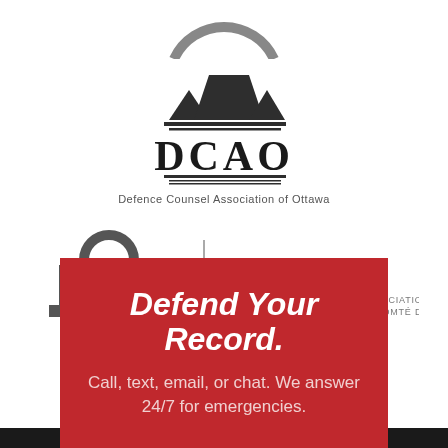[Figure (logo): Partial circular logo at top (cropped)]
[Figure (logo): DCAO - Defence Counsel Association of Ottawa logo with triangular/architectural shapes above text]
[Figure (logo): CCLA | ABCC - County of Carleton Law Association / Association du Barreau du Comté de Carleton logo]
Defend Your Record.
Call, text, email, or chat. We answer 24/7 for emergencies.